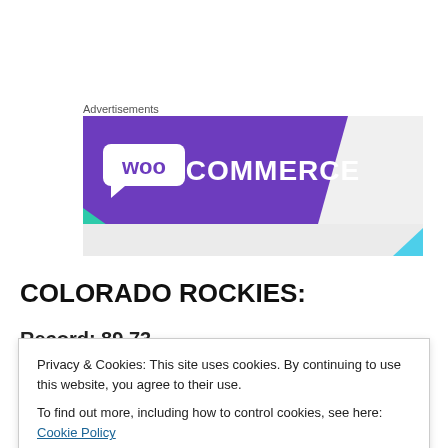Advertisements
[Figure (logo): WooCommerce advertisement banner with purple background, WooCommerce logo in white, green and blue triangles at bottom corners]
COLORADO ROCKIES:
Record: 89 73
Privacy & Cookies: This site uses cookies. By continuing to use this website, you agree to their use.
To find out more, including how to control cookies, see here: Cookie Policy
...live player for the first time. Only